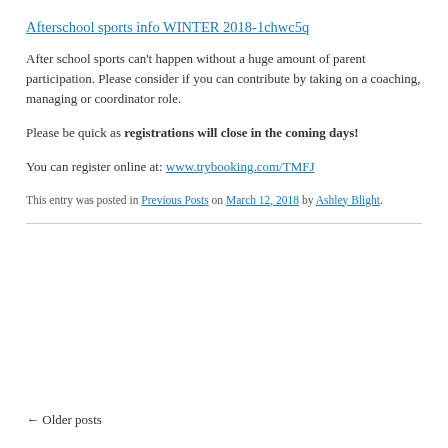Afterschool sports info WINTER 2018-1chwc5q
After school sports can't happen without a huge amount of parent participation. Please consider if you can contribute by taking on a coaching, managing or coordinator role.
Please be quick as registrations will close in the coming days!
You can register online at: www.trybooking.com/TMFJ
This entry was posted in Previous Posts on March 12, 2018 by Ashley Blight.
← Older posts